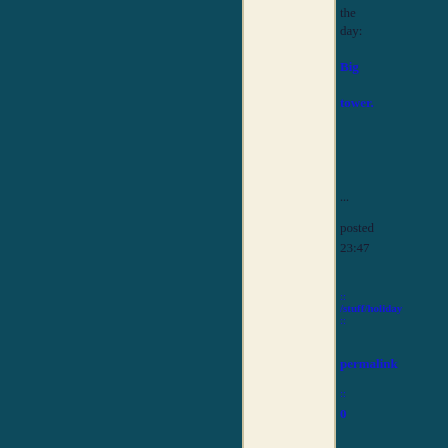the day:
Big tower.
...
posted 23:47
::
/stuff/holiday
::
permalink
::
0
[Figure (screenshot): Share / Save social sharing button bar with Facebook, Twitter, and share icons]